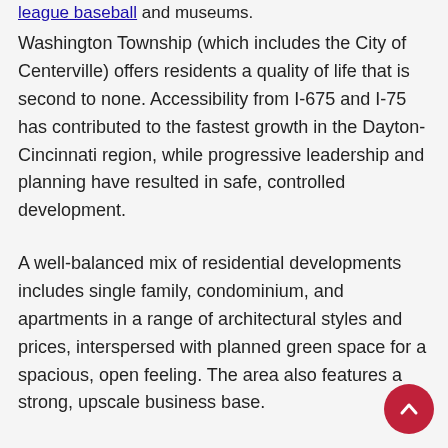league baseball and museums.
Washington Township (which includes the City of Centerville) offers residents a quality of life that is second to none. Accessibility from I-675 and I-75 has contributed to the fastest growth in the Dayton-Cincinnati region, while progressive leadership and planning have resulted in safe, controlled development.
A well-balanced mix of residential developments includes single family, condominium, and apartments in a range of architectural styles and prices, interspersed with planned green space for a spacious, open feeling. The area also features a strong, upscale business base.